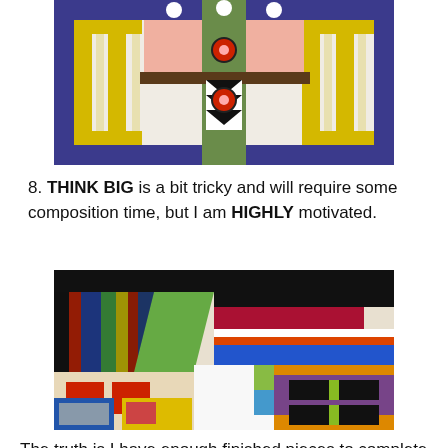[Figure (photo): Colorful geometric textile or quilt artwork with blue, yellow, green, pink, and black patterns arranged in a decorative border-like composition]
8. THINK BIG is a bit tricky and will require some composition time, but I am HIGHLY motivated.
[Figure (photo): Colorful abstract painting or artwork with bold geometric shapes and blocks of color including black, red, blue, yellow, green, orange, and purple]
The truth is I have enough finished pieces to complete the